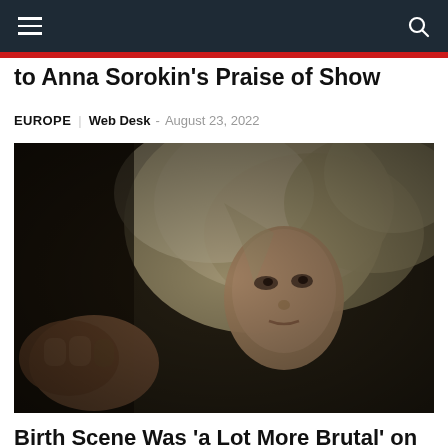Navigation bar with hamburger menu and search icon
to Anna Sorokin's Praise of Show
EUROPE  Web Desk – August 23, 2022
[Figure (photo): A woman with light blonde/white hair lying down, looking upward, in a dark dramatic scene. A hand or fist is visible in the lower left foreground.]
Birth Scene Was 'a Lot More Brutal' on Set